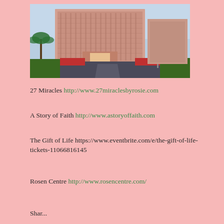[Figure (photo): Exterior photo of a large pink hotel building (Rosen Centre) with palm trees and a curved driveway in the foreground, blue sky background.]
27 Miracles http://www.27miraclesbyrosie.com
A Story of Faith http://www.astoryoffaith.com
The Gift of Life https://www.eventbrite.com/e/the-gift-of-life-tickets-11066816145
Rosen Centre http://www.rosencentre.com/
Shar...